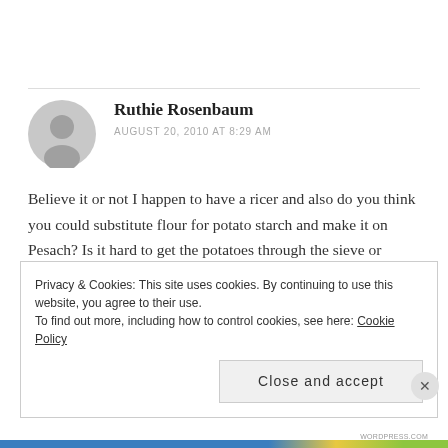Ruthie Rosenbaum
AUGUST 20, 2010 AT 8:29 AM
Believe it or not I happen to have a ricer and also do you think you could substitute flour for potato starch and make it on Pesach? Is it hard to get the potatoes through the sieve or strainer as we laymen call it?
Privacy & Cookies: This site uses cookies. By continuing to use this website, you agree to their use. To find out more, including how to control cookies, see here: Cookie Policy
Close and accept